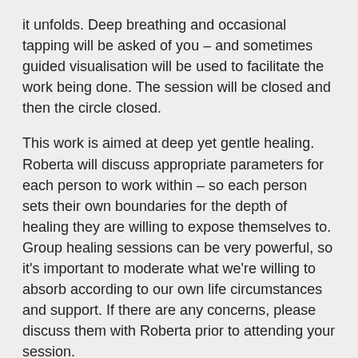it unfolds.  Deep breathing and occasional tapping will be asked of you – and sometimes guided visualisation will be used to facilitate the work being done.  The session will be closed and then the circle closed.
This work is aimed at deep yet gentle healing.  Roberta will discuss appropriate parameters for each person to work within – so each person sets their own boundaries for the depth of healing they are willing to expose themselves to.  Group healing sessions can be very powerful, so it's important to moderate what we're willing to absorb according to our own life circumstances and support.  If there are any concerns, please discuss them with Roberta prior to attending your session.
I look forward to working with you to increase your sense of wellbeing and decrease your stress.